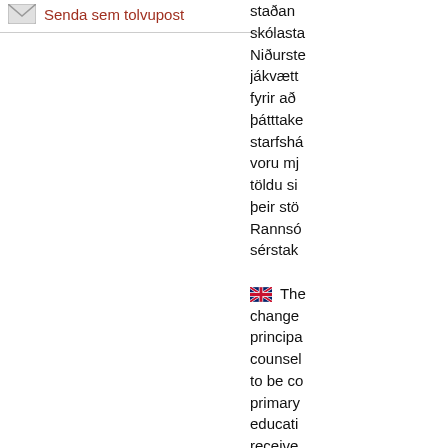Senda sem tolvupost
staðan skólasta Niðurste jákvætt fyrir að þátttake starfshá voru mj töldu si þeir stö Rannsó sérstak
The change principa counsel to be co primary educati receive The stu and cor